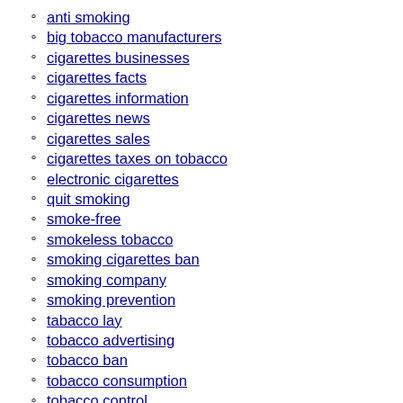anti smoking
big tobacco manufacturers
cigarettes businesses
cigarettes facts
cigarettes information
cigarettes news
cigarettes sales
cigarettes taxes on tobacco
electronic cigarettes
quit smoking
smoke-free
smokeless tobacco
smoking cigarettes ban
smoking company
smoking prevention
tabacco lay
tobacco advertising
tobacco ban
tobacco consumption
tobacco control
tobacco facts
tobacco industry
tobacco informations
tobacco items